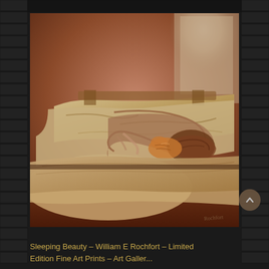[Figure (illustration): A painting titled 'Sleeping Beauty' by William E Rochfort. The painting depicts a figure lying asleep, curled under rumpled bedding and pillows in warm brown and golden tones. A cat can be seen nestled near the sleeping figure. The background features warm reddish-brown hues with a window or light source visible in the upper portion.]
Sleeping Beauty – William E Rochfort – Limited Edition Fine Art Prints – Art Galler...